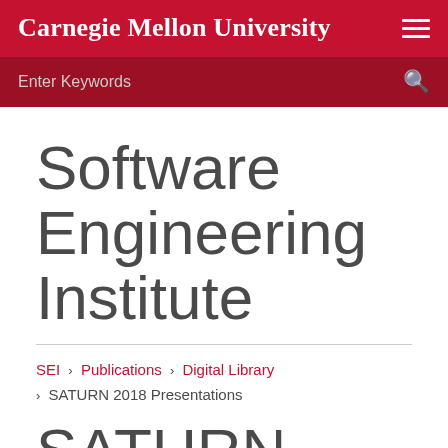Carnegie Mellon University
Enter Keywords
Software Engineering Institute
SEI › Publications › Digital Library › SATURN 2018 Presentations
SATURN 2018 Presentations